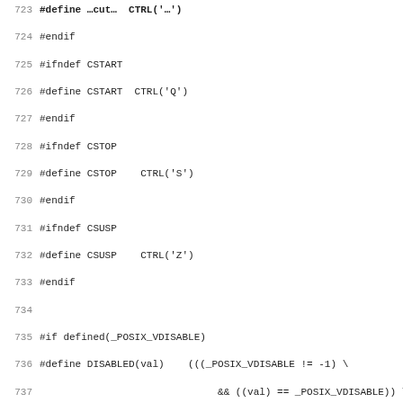Source code listing lines 723-755, C preprocessor macros and function definitions for terminal control
724 #endif
725 #ifndef CSTART
726 #define CSTART  CTRL('Q')
727 #endif
728 #ifndef CSTOP
729 #define CSTOP    CTRL('S')
730 #endif
731 #ifndef CSUSP
732 #define CSUSP    CTRL('Z')
733 #endif
734
735 #if defined(_POSIX_VDISABLE)
736 #define DISABLED(val)    (((_POSIX_VDISABLE != -1) \
737                               && ((val) == _POSIX_VDISABLE)) \
738                               || ((val) <= 0))
739 #else
740 #define DISABLED(val)    ((int)(val) <= 0)
741 #endif
742
743 #define CHK(val, dft)    (DISABLED(val) ? dft : val)
744
745 static bool set_tabs(void);
746
747 /*
748  * Reset the terminal mode bits to a sensible state.  \
749  * a child program dies in raw mode.
750  */
751 static void
752 reset_mode(void)
753 {
754 #ifdef TERMIOS
755     tcgetattr(STDERR_FILENO, &mode);